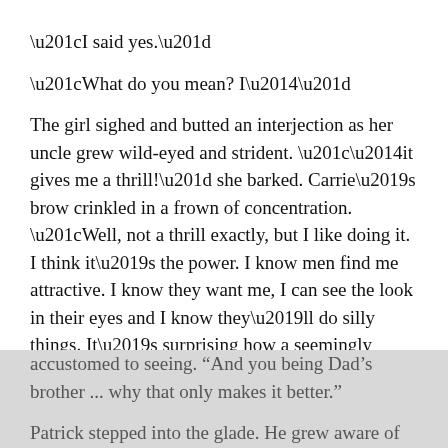“I said yes.”
“What do you mean? I—”
The girl sighed and butted an interjection as her uncle grew wild-eyed and strident. “—it gives me a thrill!” she barked. Carrie’s brow crinkled in a frown of concentration. “Well, not a thrill exactly, but I like doing it. I think it’s the power. I know men find me attractive. I know they want me, I can see the look in their eyes and I know they’ll do silly things. It’s surprising how a seemingly rational and intelligent man will do just about anything I ask ... if I ask them the right way.” The frown unwrinkled and an impish glint flickered in her eye, Carrie’s upper lip curled and her face took on the sly look Patrick was growing accustomed to seeing. “And you being Dad’s brother ... why that only makes it better.”
Patrick stepped into the glade. He grew aware of only